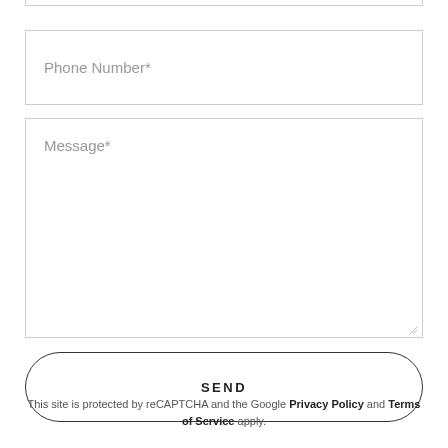[Figure (screenshot): Top portion of a web form showing the bottom edge of a previous input field]
Phone Number*
Message*
SEND
This site is protected by reCAPTCHA and the Google Privacy Policy and Terms of Service apply.